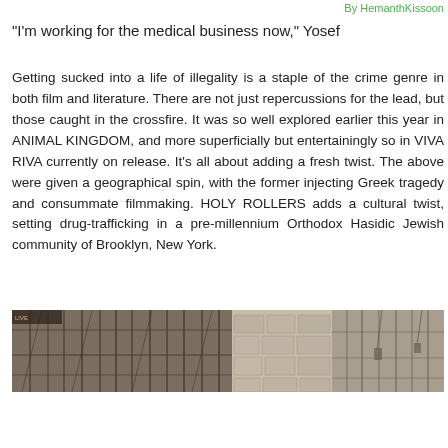By HemanthKissoon
"I'm working for the medical business now," Yosef
Getting sucked into a life of illegality is a staple of the crime genre in both film and literature. There are not just repercussions for the lead, but those caught in the crossfire. It was so well explored earlier this year in ANIMAL KINGDOM, and more superficially but entertainingly so in VIVA RIVA currently on release. It’s all about adding a fresh twist. The above were given a geographical spin, with the former injecting Greek tragedy and consummate filmmaking. HOLY ROLLERS adds a cultural twist, setting drug-trafficking in a pre-millennium Orthodox Hasidic Jewish community of Brooklyn, New York.
[Figure (photo): A panoramic strip image showing wooden structures and stone walls, appearing to be a film still or documentary photograph related to Holy Rollers or a similar setting.]